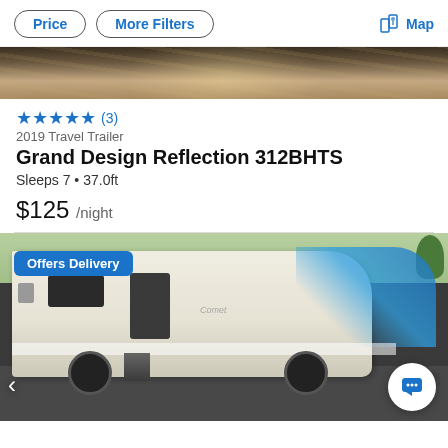Price  More Filters  Map
[Figure (photo): Top portion of an RV interior/exterior photo strip, partially visible]
★★★★★ (3)
2019 Travel Trailer
Grand Design Reflection 312BHTS
Sleeps 7 • 37.0ft
$125 /night
[Figure (photo): Travel trailer RV (Coachmen/Apex brand) parked in a lot, white with blue swoosh graphics, showing side profile with door, steps deployed. Badge says 'Offers Delivery'. Carousel left arrow visible. Chat button in lower right.]